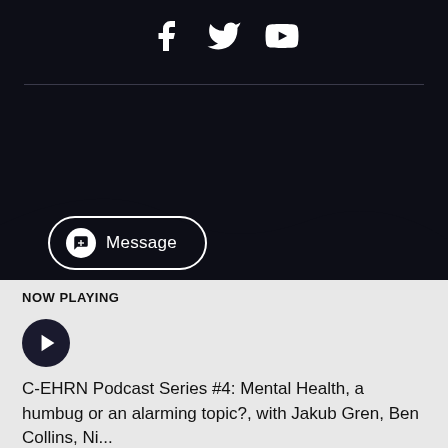[Figure (screenshot): Social media icons: Facebook, Twitter, YouTube in white on dark background]
[Figure (illustration): Message button with plus icon, white border on dark background]
NOW PLAYING
[Figure (illustration): Play button icon, dark circular button]
C-EHRN Podcast Series #4: Mental Health, a humbug or an alarming topic?, with Jakub Gren, Ben Collins, Ni...
Mar 08, 2022, 1 PM  37:02
4 EPISODES